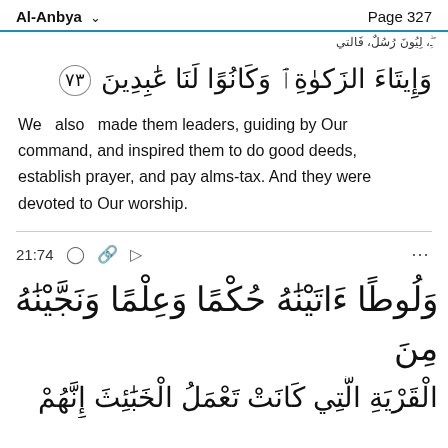Al-Anbya    Page 327
وَإِيتَاءَ الزَّكَوٰةِ ۖ وَكَانُوا۟ لَنَا عَٰبِدِينَ ⑦③
We  also  made them leaders, guiding by Our command, and inspired them to do good deeds, establish prayer, and pay alms-tax. And they were devoted to Our worship.
21:74
وَلُوطًا ءَاتَيْنَٰهُ حُكْمًا وَعِلْمًا وَنَجَّيْنَٰهُ مِنَ